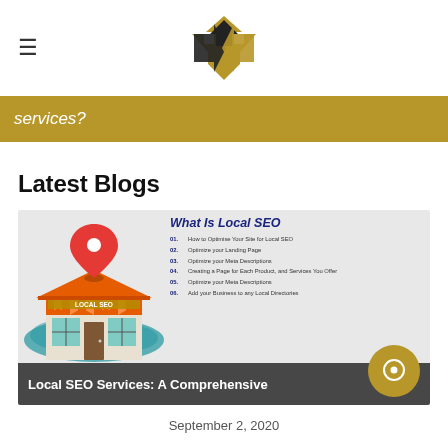≡  [Logo: S arrow mark]
services?
Latest Blogs
[Figure (illustration): Blog card showing 'What Is Local SEO' infographic with a map pin above a store labeled LOCAL SEO, a world map background, and a numbered list of SEO tips]
Local SEO Services: A Comprehensive
September 2, 2020